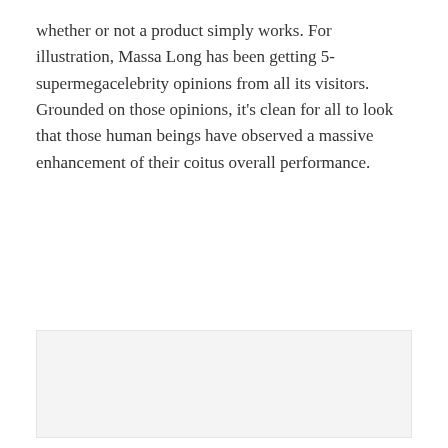whether or not a product simply works. For illustration, Massa Long has been getting 5- supermegacelebrity opinions from all its visitors. Grounded on those opinions, it’s clean for all to look that those human beings have observed a massive enhancement of their coitus overall performance.
[Figure (other): Light gray rectangular placeholder image area]